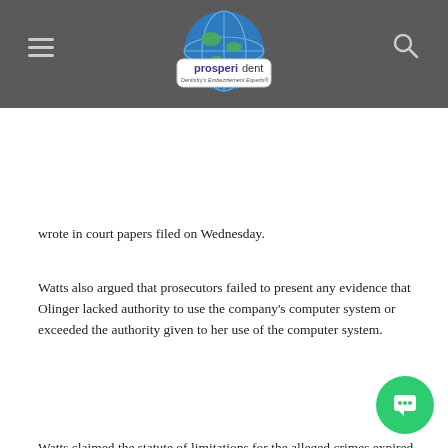prosperident — Dentistry's Embezzlement Experts
wrote in court papers filed on Wednesday.
Watts also argued that prosecutors failed to present any evidence that Olinger lacked authority to use the company's computer system or exceeded the authority given to her use of the computer system.
Watts claimed the statute of limitations for the alleged crimes expired between 2006 and 2009, and therefore the charges should be dismissed.